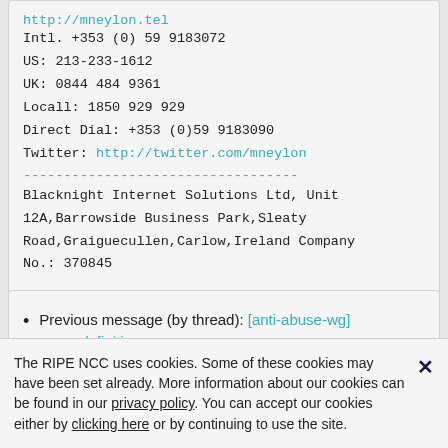http://mneylon.tel
Intl. +353 (0) 59  9183072
US: 213-233-1612
UK: 0844 484 9361
Locall: 1850 929 929
Direct Dial: +353 (0)59 9183090
Twitter: http://twitter.com/mneylon
----------------------------------
Blacknight Internet Solutions Ltd, Unit 12A,Barrowside Business Park,Sleaty Road,Graiguecullen,Carlow,Ireland  Company No.: 370845
Previous message (by thread): [anti-abuse-wg] spam definition
The RIPE NCC uses cookies. Some of these cookies may have been set already. More information about our cookies can be found in our privacy policy. You can accept our cookies either by clicking here or by continuing to use the site.